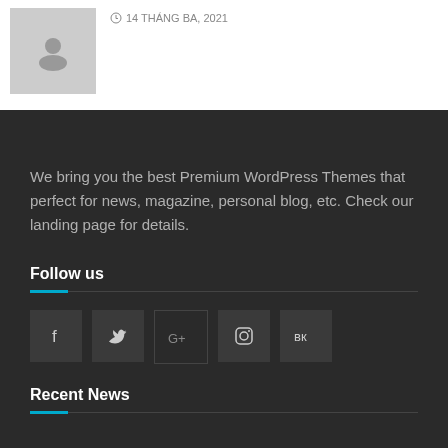[Figure (photo): Thumbnail image placeholder (gray square with user icon)]
14 THÁNG BA, 2021
We bring you the best Premium WordPress Themes that perfect for news, magazine, personal blog, etc. Check our landing page for details.
Follow us
[Figure (infographic): Social media icons: Facebook, Twitter, Google+, Instagram, VK]
Recent News